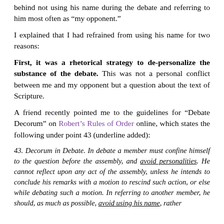behind not using his name during the debate and referring to him most often as “my opponent.”
I explained that I had refrained from using his name for two reasons:
First, it was a rhetorical strategy to de-personalize the substance of the debate. This was not a personal conflict between me and my opponent but a question about the text of Scripture.
A friend recently pointed me to the guidelines for “Debate Decorum” on Robert’s Rules of Order online, which states the following under point 43 (underline added):
43. Decorum in Debate. In debate a member must confine himself to the question before the assembly, and avoid personalities. He cannot reflect upon any act of the assembly, unless he intends to conclude his remarks with a motion to rescind such action, or else while debating such a motion. In referring to another member, he should, as much as possible, avoid using his name, rather